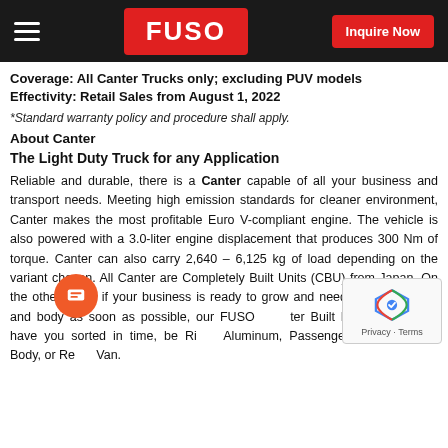FUSO | Inquire Now
Coverage: All Canter Trucks only; excluding PUV models
Effectivity: Retail Sales from August 1, 2022
*Standard warranty policy and procedure shall apply.
About Canter
The Light Duty Truck for any Application
Reliable and durable, there is a Canter capable of all your business and transport needs. Meeting high emission standards for cleaner environment, Canter makes the most profitable Euro V-compliant engine. The vehicle is also powered with a 3.0-liter engine displacement that produces 300 Nm of torque. Canter can also carry 2,640 – 6,125 kg of load depending on the variant chosen. All Canter are Completely Built Units (CBU) from Japan. On the other hand, if your business is ready to grow and needs a quality truck and body as soon as possible, our FUSO Canter Built Ready range will have you sorted in time, be it Refrigerated Aluminum, Passenger Van, Dropside Body, or Refrigerated Van.